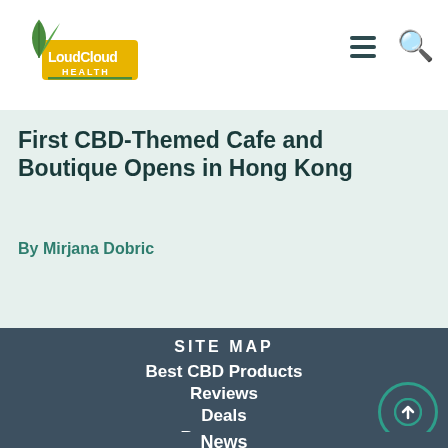[Figure (logo): LoudCloud Health logo with green cannabis leaf and yellow/green banner]
First CBD-Themed Cafe and Boutique Opens in Hong Kong
By Mirjana Dobric
Seth Roge... Movies am...
By Hermina...
SITE MAP
Best CBD Products
Reviews
Deals
Resources
News